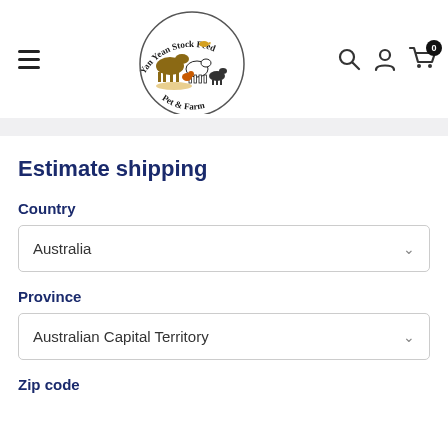[Figure (logo): Yan Yean Stock Feed Pet & Farm logo with farm animals]
Estimate shipping
Country
Australia
Province
Australian Capital Territory
Zip code